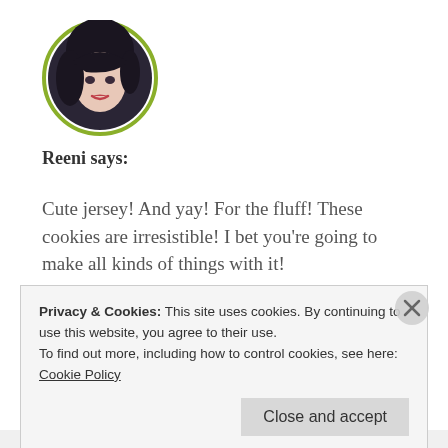[Figure (photo): Circular avatar photo of a young woman with dark blue hair and pale skin, bordered with an olive green circle]
Reeni says:
Cute jersey! And yay! For the fluff! These cookies are irresistible! I bet you're going to make all kinds of things with it!
★ Like
May 6, 2013 at 12:24 am
↵ REPLY
Privacy & Cookies: This site uses cookies. By continuing to use this website, you agree to their use.
To find out more, including how to control cookies, see here:
Cookie Policy
Close and accept